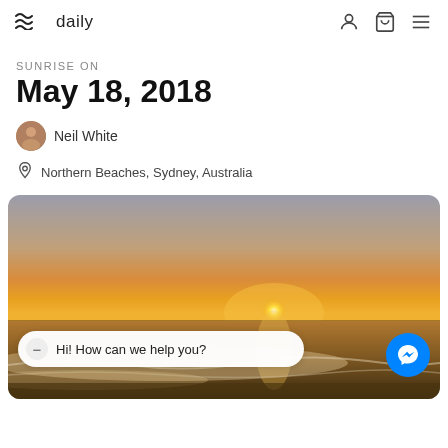daily
SUNRISE ON
May 18, 2018
Neil White
Northern Beaches, Sydney, Australia
[Figure (photo): Sunrise photo over a beach with waves, golden sun near horizon, orange and grey sky, with a chat widget overlay reading 'Hi! How can we help you?' and a blue Facebook Messenger button in the bottom right.]